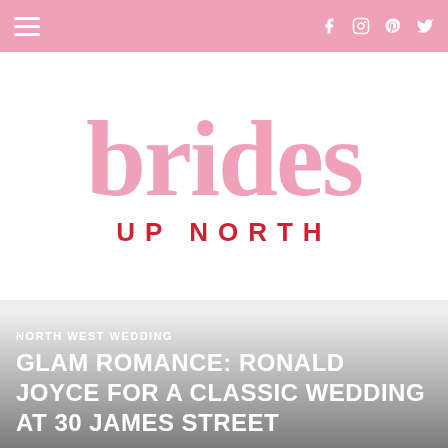brides UP NORTH — navigation bar with hamburger menu and social icons (Facebook, Instagram, Pinterest, Twitter)
[Figure (logo): Brides Up North logo: large serif pink 'brides' wordmark with 'UP NORTH' in red spaced capitals below]
NORTH WEST WEDDING
GLAM ROMANCE: RONALD JOYCE FOR A CLASSIC WEDDING AT 30 JAMES STREET